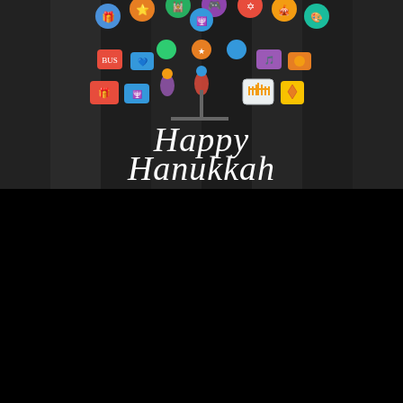[Figure (illustration): Hanukkah greeting card with dark/black striped background. A menorah-shaped arrangement made of colorful Hanukkah icons and symbols (dreidel, gifts, menorah, coins) forms a tree shape at top. Below in white handwritten script: 'Happy Hanukkah']
[Figure (illustration): Hanukkah greeting card with red background. Left side shows a Star of David in blue and gold, with gold italic script 'Happy Hanukkah!!' below it. Right side shows a golden menorah with 9 blue-and-white striped lit candles. At the bottom are donuts/sufganiyot, gold coins, blue dreidels, and wrapped gift boxes.]